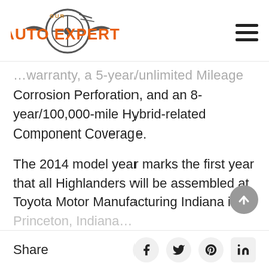Our Auto Expert
…warranty, a 5-year/unlimited Mileage Corrosion Perforation, and an 8-year/100,000-mile Hybrid-related Component Coverage.
The 2014 model year marks the first year that all Highlanders will be assembled at Toyota Motor Manufacturing Indiana in Princeton, Indiana…
Share